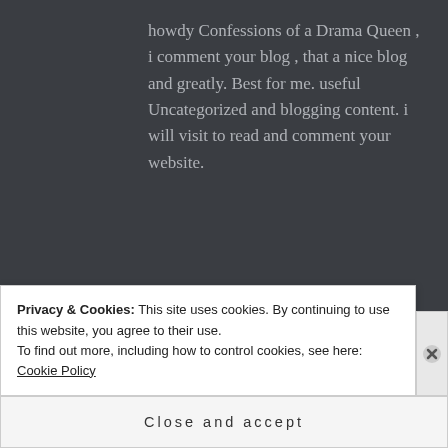howdy Confessions of a Drama Queen , i comment your blog , that a nice blog and greatly. Best for me. useful Uncategorized and blogging content. i will visit to read and comment your website.
SWEET says:
November 10, 2010 at 3:36 pm
↩ Reply
Privacy & Cookies: This site uses cookies. By continuing to use this website, you agree to their use.
To find out more, including how to control cookies, see here: Cookie Policy
Close and accept